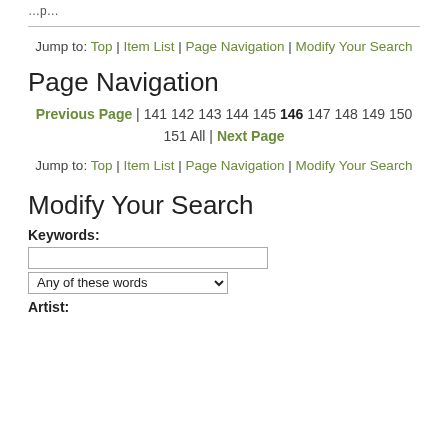Jump to: Top | Item List | Page Navigation | Modify Your Search
Page Navigation
Previous Page | 141 142 143 144 145 146 147 148 149 150 151 All | Next Page
Jump to: Top | Item List | Page Navigation | Modify Your Search
Modify Your Search
Keywords:
Artist: